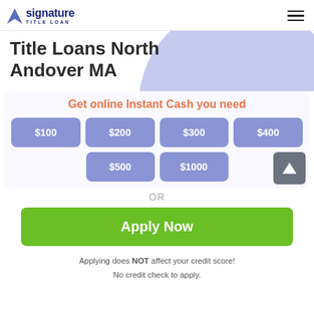Signature Title Loan
Title Loans North Andover MA
Get online Instant Cash you need
$100
$200
$300
$400
$500
$1000
OR
Apply Now
Applying does NOT affect your credit score!
No credit check to apply.